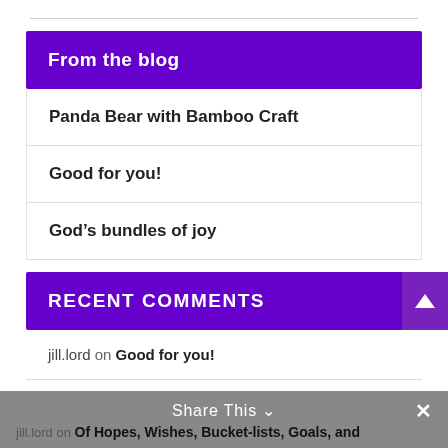From the blog
Panda Bear with Bamboo Craft
Good for you!
God's bundles of joy
Recent Comments
jill.lord on Good for you!
Barbara Latta on Good for you!
jill.lord on Of Hopes, Wishes, Bucket-lists, Goals, and
Share This ×